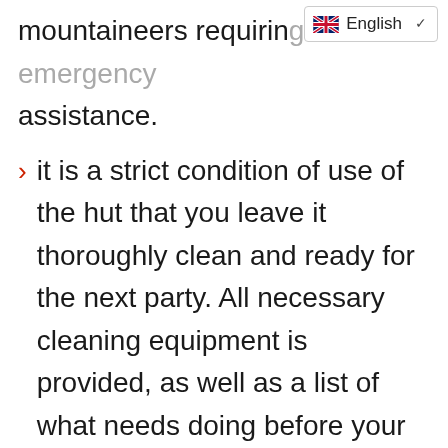mountaineers requiring emergency assistance.
it is a strict condition of use of the hut that you leave it thoroughly clean and ready for the next party. All necessary cleaning equipment is provided, as well as a list of what needs doing before your departure. Let the bookings secretary know as soon as possible if the previous group has not cleaned the hut and also of any breakages, if there is anything missing, as well as suggestions for how